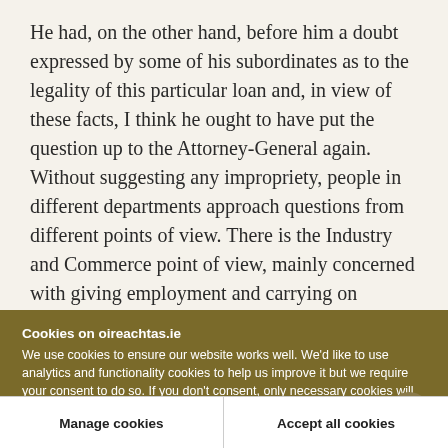He had, on the other hand, before him a doubt expressed by some of his subordinates as to the legality of this particular loan and, in view of these facts, I think he ought to have put the question up to the Attorney-General again. Without suggesting any impropriety, people in different departments approach questions from different points of view. There is the Industry and Commerce point of view, mainly concerned with giving employment and carrying on business, and there is the Finance point
Cookies on oireachtas.ie
We use cookies to ensure our website works well. We'd like to use analytics and functionality cookies to help us improve it but we require your consent to do so. If you don't consent, only necessary cookies will be used. Read more about our cookies
Manage cookies
Accept all cookies